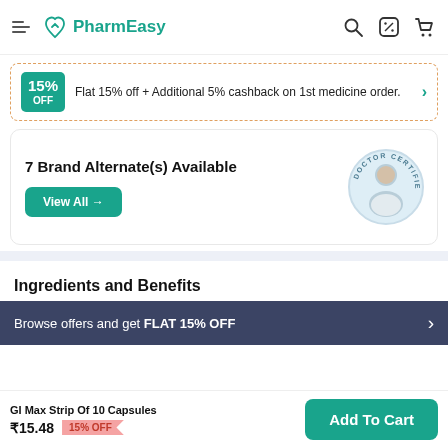PharmEasy
Flat 15% off + Additional 5% cashback on 1st medicine order.
7 Brand Alternate(s) Available
View All →
Ingredients and Benefits
Browse offers and get FLAT 15% OFF
GI Max Strip Of 10 Capsules ₹15.48 15% OFF
Add To Cart